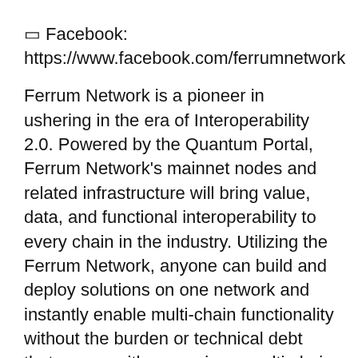🔲 Facebook: https://www.facebook.com/ferrumnetwork
Ferrum Network is a pioneer in ushering in the era of Interoperability 2.0. Powered by the Quantum Portal, Ferrum Network's mainnet nodes and related infrastructure will bring value, data, and functional interoperability to every chain in the industry. Utilizing the Ferrum Network, anyone can build and deploy solutions on one network and instantly enable multi-chain functionality without the burden or technical debt that comes with managing a multi-chain infrastructure for their dApps, and projects.